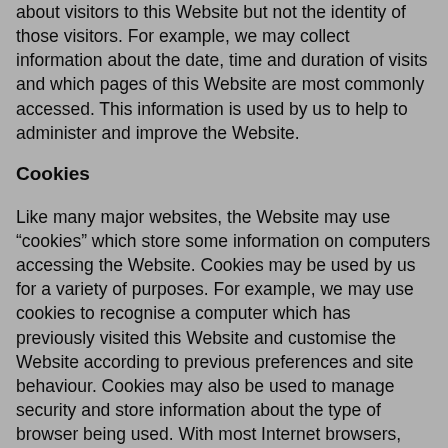about visitors to this Website but not the identity of those visitors. For example, we may collect information about the date, time and duration of visits and which pages of this Website are most commonly accessed. This information is used by us to help to administer and improve the Website.
Cookies
Like many major websites, the Website may use “cookies” which store some information on computers accessing the Website. Cookies may be used by us for a variety of purposes. For example, we may use cookies to recognise a computer which has previously visited this Website and customise the Website according to previous preferences and site behaviour. Cookies may also be used to manage security and store information about the type of browser being used. With most Internet browsers, users can erase cookies from their